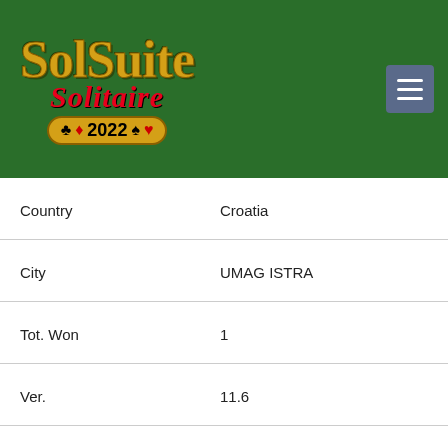[Figure (logo): SolSuite Solitaire 2022 logo on dark green background with hamburger menu button]
| Country | Croatia |
| City | UMAG ISTRA |
| Tot. Won | 1 |
| Ver. | 11.6 |
| Date | 26 Mar 16 |
Last Update: 13 Aug 22
To publish your Statistics on the - Top 20